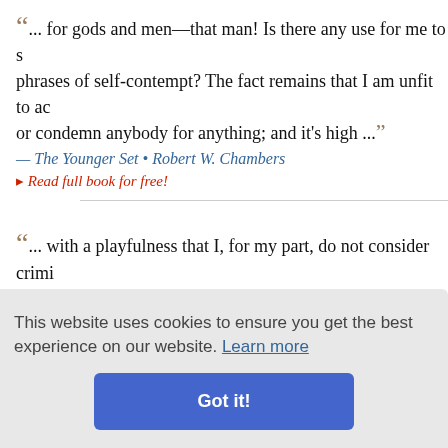... for gods and men—that man! Is there any use for me to s... phrases of self-contempt? The fact remains that I am unfit to ac... or condemn anybody for anything; and it's high ...
— The Younger Set • Robert W. Chambers
▸ Read full book for free!
... with a playfulness that I, for my part, do not consider crimi... endeavoured to place an assassine for her, just above her whi... complimenting her upon its fairness as you did so. This procee... not criticise, greatly shocked and incensed a certain actor star... Captain Fracasse, who rushed forward...
This website uses cookies to ensure you get the best experience on our website. Learn more
Got it!
...onsciousness... n of the fre... eded. They...
criticise the tactics. Though we wear no crape, the thought of...